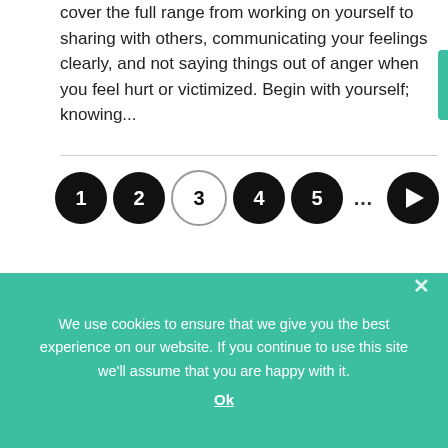cover the full range from working on yourself to sharing with others, communicating your feelings clearly, and not saying things out of anger when you feel hurt or victimized. Begin with yourself; knowing...
[Figure (other): Pagination row with numbered circles: 1 (filled), 2 (filled), 3 (outline/current), 4 (filled), 5 (filled), ... (ellipsis), and a play button circle.]
[Figure (photo): A card section showing a circular avatar photo of a person at the bottom center.]
We use cookies to ensure that we give you the best experience on our website. If you continue to use this site we'll assume that you are happy with it.
Ok